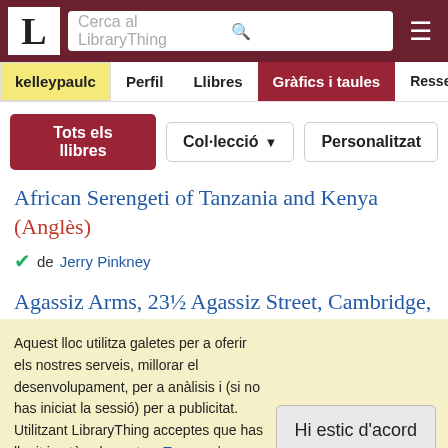LibraryThing - Cerca al LibraryThing
kelleypaulc | Perfil | Llibres | Gràfics i taules | Ressenyes
Tots els llibres | Col·lecció ▼ | Personalitzat
African Serengeti of Tanzania and Kenya (Anglès)
✅ The Lion & the Mouse de Jerry Pinkney
Agassiz Arms, 23½ Agassiz Street, Cambridge,
Aquest lloc utilitza galetes per a oferir els nostres serveis, millorar el desenvolupament, per a anàlisis i (si no has iniciat la sessió) per a publicitat. Utilitzant LibraryThing acceptes que has llegit i entès els nostres Termes de servei i política de privacitat. L'ús que facis del lloc i dels seus serveis està subjecte a aquestes polítiques i termes.